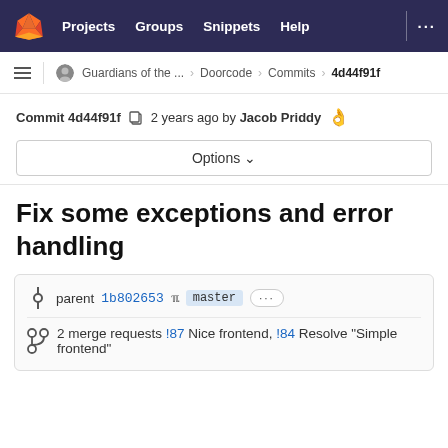Projects  Groups  Snippets  Help
Guardians of the... > Doorcode > Commits > 4d44f91f
Commit 4d44f91f  2 years ago by Jacob Priddy 👌
Options ∨
Fix some exceptions and error handling
parent 1b802653  master  ...
2 merge requests !87 Nice frontend, !84 Resolve "Simple frontend"